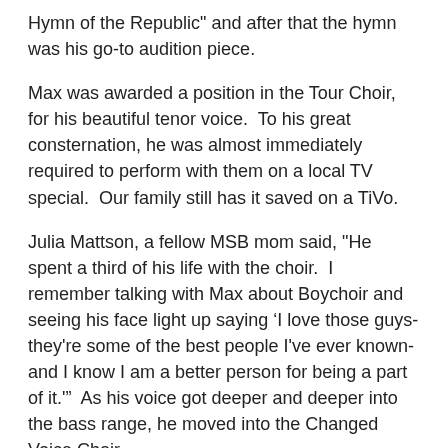Hymn of the Republic" and after that the hymn was his go-to audition piece.
Max was awarded a position in the Tour Choir, for his beautiful tenor voice.  To his great consternation, he was almost immediately required to perform with them on a local TV special.  Our family still has it saved on a TiVo.
Julia Mattson, a fellow MSB mom said, "He spent a third of his life with the choir.  I remember talking with Max about Boychoir and seeing his face light up saying ‘I love those guys-they're some of the best people I've ever known-and I know I am a better person for being a part of it.'”  As his voice got deeper and deeper into the bass range, he moved into the Changed Voice Choir.
His family moved to Aberdeen where Max